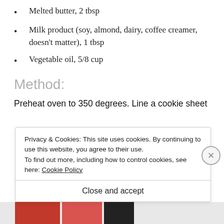Melted butter, 2 tbsp
Milk product (soy, almond, dairy, coffee creamer, doesn't matter), 1 tbsp
Vegetable oil, 5/8 cup
Method:
Preheat oven to 350 degrees. Line a cookie sheet
Privacy & Cookies: This site uses cookies. By continuing to use this website, you agree to their use.
To find out more, including how to control cookies, see here: Cookie Policy
Close and accept